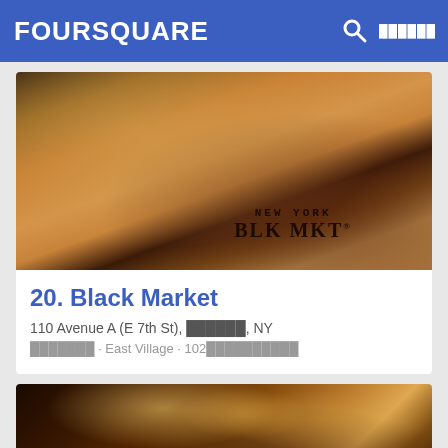FOURSQUARE
[Figure (photo): Close-up photo of a drink glass with a New York BLK MKT label visible, warm golden-brown tones]
20. Black Market
110 Avenue A (E 7th St), ██████, NY
███████ · East Village · 102██████████
[Figure (photo): Interior of a bar/restaurant with warm lighting, string lights, chandelier lights, and framed pictures on the walls]